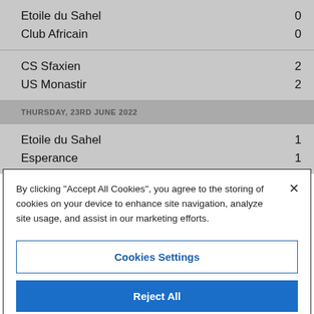| Team | Score |
| --- | --- |
| Etoile du Sahel | 0 |
| Club Africain | 0 |
| CS Sfaxien | 2 |
| US Monastir | 2 |
THURSDAY, 23RD JUNE 2022
| Team | Score |
| --- | --- |
| Etoile du Sahel | 1 |
| Esperance | 1 |
By clicking "Accept All Cookies", you agree to the storing of cookies on your device to enhance site navigation, analyze site usage, and assist in our marketing efforts.
Cookies Settings
Reject All